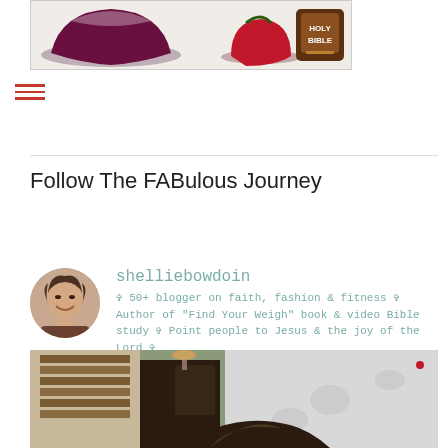[Figure (photo): Top banner image showing onion/apple bowls and a Holy Bible app icon on a white/light background]
[Figure (other): Red hamburger menu icon (three horizontal red lines)]
Follow The FABulous Journey
[Figure (photo): Circular profile photo of shelliebowdoin, a woman with short brown hair, smiling]
shelliebowdoin
✞ 50+ blogger on faith, fashion & fitness ✞ Author of "Find Your Weigh" book & video Bible study ✞ Point people to Jesus & the joy of the Lord ✞
[Figure (photo): Interior bedroom scene photographed from a low angle, showing wooden blinds, furniture, and a white bedspread; bottom portion shows a person's head with dark hair]